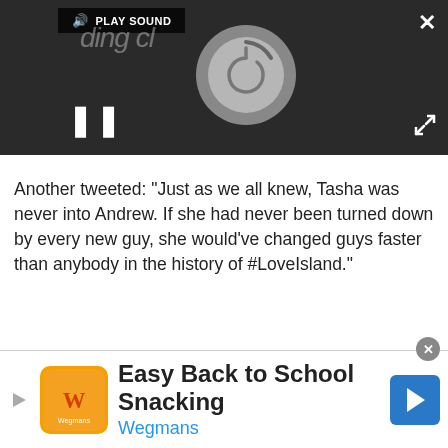[Figure (screenshot): Video player UI with dark background, play sound bar, loading spinner circle, and pause button]
Another tweeted: "Just as we all knew, Tasha was never into Andrew. If she had never been turned down by every new guy, she would've changed guys faster than anybody in the history of #LoveIsland."
[Figure (screenshot): Advertisement placeholder box with 'Advertisement' label in light gray]
[Figure (screenshot): Bottom ad banner: Easy Back to School Snacking by Wegmans with orange logo and blue arrow button]